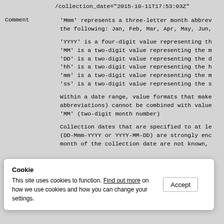/collection_date="2015-10-11T17:53:03Z"
Comment   'Mmm' represents a three-letter month abbrev the following: Jan, Feb, Mar, Apr, May, Jun,

'YYYY' is a four-digit value representing th
'MM' is a two-digit value representing the m
'DD' is a two-digit value representing the d
'hh' is a two-digit value representing the h
'mm' is a two-digit value representing the m
'ss' is a two-digit value representing the s

Within a date range, value formats that make abbreviations) cannot be combined with value 'MM' (two-digit month number)

Collection dates that are specified to at le (DD-Mmm-YYYY or YYYY-MM-DD) are strongly enc month of the collection date are not known,
Cookie
This site uses cookies to function. Find out more on how we use cookies and how you can change your settings.